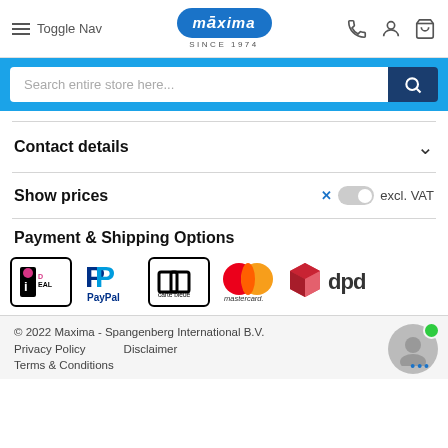Toggle Nav | Maxima Since 1974 | [phone] [account] [cart]
[Figure (screenshot): Search bar with placeholder 'Search entire store here...' and blue search button]
Contact details
Show prices
excl. VAT
Payment & Shipping Options
[Figure (logo): Payment and shipping logos: iDEAL, PayPal, Carte Bleue, Mastercard, DPD]
© 2022 Maxima - Spangenberg International B.V.
Privacy Policy   Disclaimer
Terms & Conditions